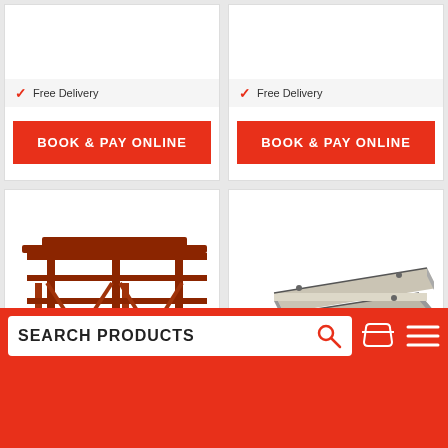✓ Free Delivery
BOOK & PAY ONLINE
✓ Free Delivery
BOOK & PAY ONLINE
[Figure (photo): Red metal scaffolding structure with horizontal and diagonal supports]
[Figure (photo): Stack of grey concrete/cement boards or planks]
SEARCH PRODUCTS